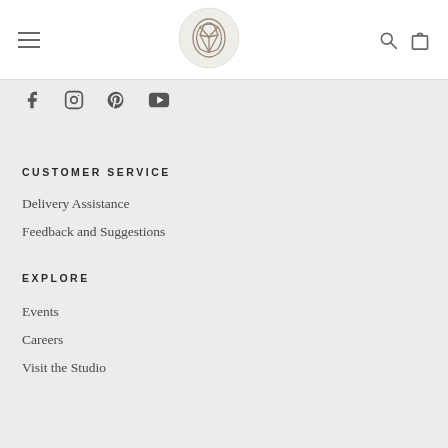[Figure (logo): Circular logo with abstract gem/crystal line art inside a beige circle]
[Figure (infographic): Social media icons: Facebook, Instagram, Pinterest, YouTube]
CUSTOMER SERVICE
Delivery Assistance
Feedback and Suggestions
EXPLORE
Events
Careers
Visit the Studio